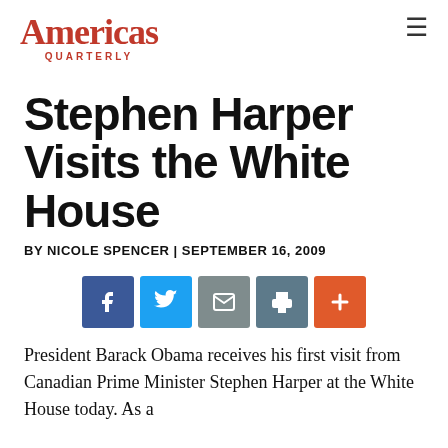Americas Quarterly
Stephen Harper Visits the White House
BY NICOLE SPENCER | SEPTEMBER 16, 2009
[Figure (infographic): Social share buttons: Facebook (blue), Twitter (light blue), Email (gray), Print (dark teal), Add/Plus (orange-red)]
President Barack Obama receives his first visit from Canadian Prime Minister Stephen Harper at the White House today. As a